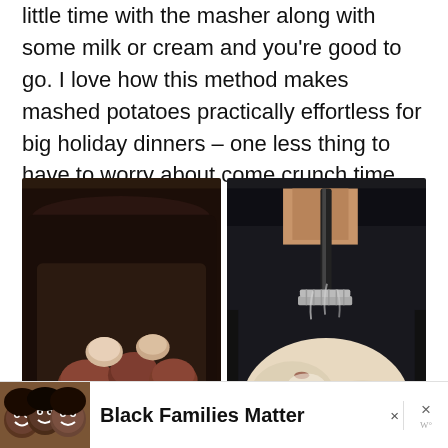little time with the masher along with some milk or cream and you're good to go. I love how this method makes mashed potatoes practically effortless for big holiday dinners – one less thing to have to worry about come crunch time.
[Figure (photo): Left: raw red potatoes in a black slow cooker/crock pot. Right: a hand using a potato masher to mash cooked potatoes in a black slow cooker, resulting in chunky mashed potatoes.]
[Figure (photo): Advertisement banner showing smiling people with text 'Black Families Matter']